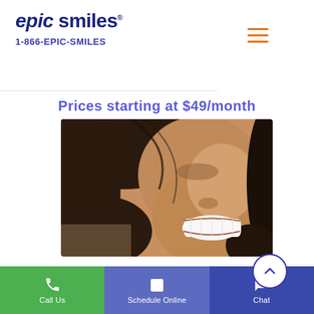[Figure (logo): Epic Smiles logo with italic stylized text and phone number 1-866-EPIC-SMILES]
Prices starting at $49/month
[Figure (photo): Close-up photo of a smiling woman with dark curly hair showing bright white teeth]
Book a Free Consultation >
Call Us
Schedule Online
Chat